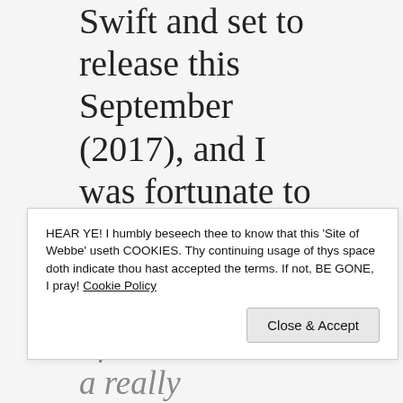Swift and set to release this September (2017), and I was fortunate to have been given an advance review copy. To me, Swift brought Deborah Willet, the Pepyses, and the London of the 1660s t...
HEAR YE! I humbly beseech thee to know that this 'Site of Webbe' useth COOKIES. Thy continuing usage of thys space doth indicate thou hast accepted the terms. If not, BE GONE, I pray! Cookie Policy
Close & Accept
I found this to be a really